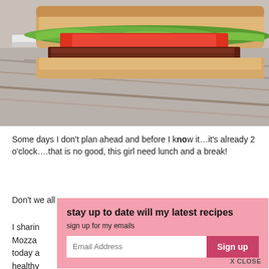[Figure (photo): Close-up photo of a sandwich with tomato, lettuce, bacon/meat on toasted bread, on a wooden surface]
Some days I don't plan ahead and before I know it…it's already 2 o'clock….that is no good, this girl need lunch and a break!
Don't we all
I sharing… Mozzar… today a… healthy
stay up to date will my latest recipes
sign up for my emails
Email Address  Sign up
X CLOSE